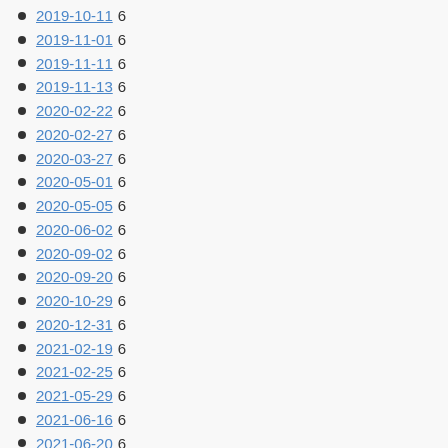2019-10-11 6
2019-11-01 6
2019-11-11 6
2019-11-13 6
2020-02-22 6
2020-02-27 6
2020-03-27 6
2020-05-01 6
2020-05-05 6
2020-06-02 6
2020-09-02 6
2020-09-20 6
2020-10-29 6
2020-12-31 6
2021-02-19 6
2021-02-25 6
2021-05-29 6
2021-06-16 6
2021-06-20 6